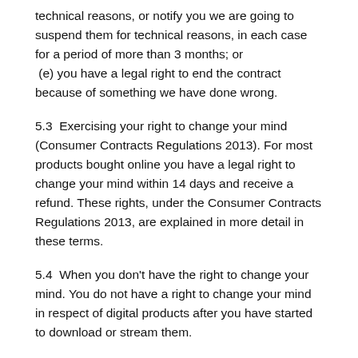technical reasons, or notify you we are going to suspend them for technical reasons, in each case for a period of more than 3 months; or
(e) you have a legal right to end the contract because of something we have done wrong.
5.3  Exercising your right to change your mind (Consumer Contracts Regulations 2013). For most products bought online you have a legal right to change your mind within 14 days and receive a refund. These rights, under the Consumer Contracts Regulations 2013, are explained in more detail in these terms.
5.4  When you don't have the right to change your mind. You do not have a right to change your mind in respect of digital products after you have started to download or stream them.
5.5  How long do I have to change my mind? How long